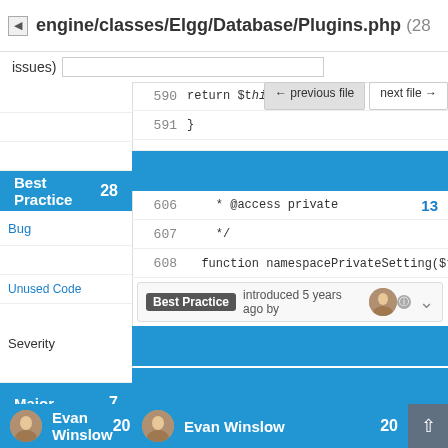engine/classes/Elgg/Database/Plugins.php (28 issues)
← previous file   next file →
590   return $this->setPrior...
591   }
Best Practice   28
Bug   13
606   * @access private
607   */
Unused Code   1
608   function namespacePrivateSetting($type,
Severity
Best Practice introduced 5 years ago by
Major   7
Minor   21
Introduced By
609   switch ($type) {
610         case 'user_setting':
Evan Winslow   20